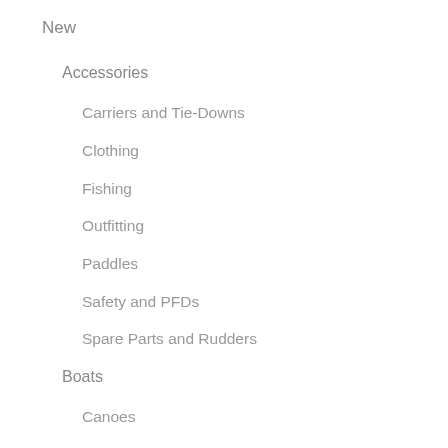New
Accessories
Carriers and Tie-Downs
Clothing
Fishing
Outfitting
Paddles
Safety and PFDs
Spare Parts and Rudders
Boats
Canoes
Fishing Kayaks
Sit-Inside Kayaks